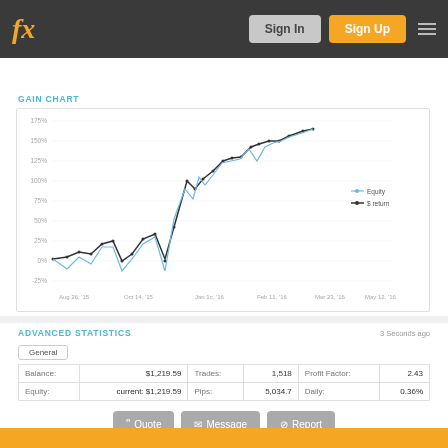[Figure (logo): fx logo in orange italic on dark header bar]
Sign In
Sign Up
GAIN CHART
[Figure (line-chart): Gain Chart]
ADVANCED STATISTICS
3 Seconds ago
General
|  |  |  |  |  |  |
| --- | --- | --- | --- | --- | --- |
| Balance: | $1,219.59 | Trades: | 1,518 | Profit Factor: | 2.43 |
| Equity: | current: $1,219.59 | Pips: | 5,034.7 | Daily: | 0.36% |
Quote
Message
Report